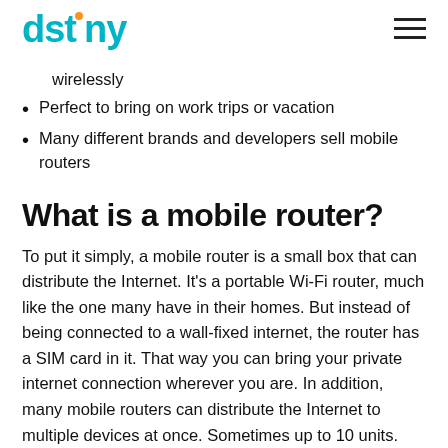dstny
wirelessly
Perfect to bring on work trips or vacation
Many different brands and developers sell mobile routers
What is a mobile router?
To put it simply, a mobile router is a small box that can distribute the Internet. It's a portable Wi-Fi router, much like the one many have in their homes. But instead of being connected to a wall-fixed internet, the router has a SIM card in it. That way you can bring your private internet connection wherever you are. In addition, many mobile routers can distribute the Internet to multiple devices at once. Sometimes up to 10 units. Perfect when you want to be able to share the internet to your phone, your laptop, your tablet, game console or camera at the same time. It